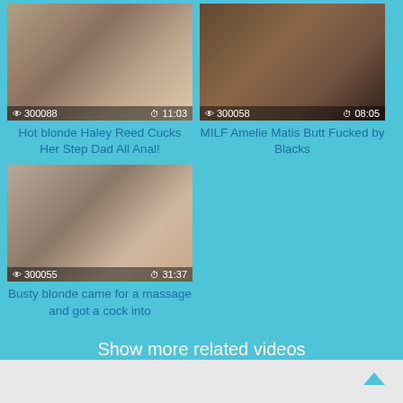[Figure (screenshot): Video thumbnail for Hot blonde Haley Reed Cucks Her Step Dad All Anal!, view count 300088, duration 11:03]
Hot blonde Haley Reed Cucks Her Step Dad All Anal!
[Figure (screenshot): Video thumbnail for MILF Amelie Matis Butt Fucked by Blacks, view count 300058, duration 08:05]
MILF Amelie Matis Butt Fucked by Blacks
[Figure (screenshot): Video thumbnail for Busty blonde came for a massage and got a cock into, view count 300055, duration 31:37]
Busty blonde came for a massage and got a cock into
Show more related videos